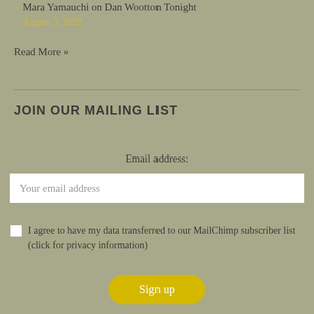Mara Yamauchi on Dan Wootton Tonight
August 3, 2022
Read More »
JOIN OUR MAILING LIST
Email address:
Your email address
I agree to have my data transferred to our MailChimp subscriber list (click for privacy information)
Sign up